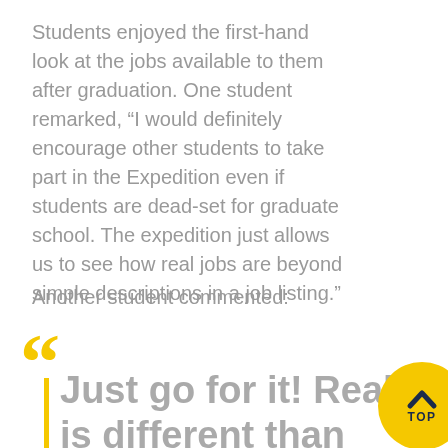Students enjoyed the first-hand look at the jobs available to them after graduation. One student remarked, “I would definitely encourage other students to take part in the Expedition even if students are dead-set for graduate school. The expedition just allows us to see how real jobs are beyond simple descriptions in a job listing.”
Another student commented:
Just go for it! Reality is different than what we learn in books. Technology is